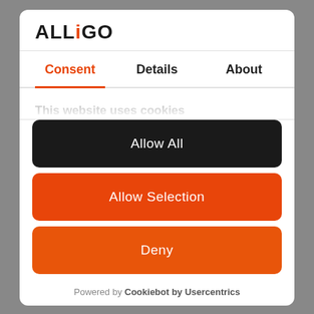[Figure (logo): ALLiGO logo with orange dot on the letter i]
Consent | Details | About
This website uses cookies
We use cookies to personalise content and ads, to provide
Allow All
Allow Selection
Deny
Powered by Cookiebot by Usercentrics